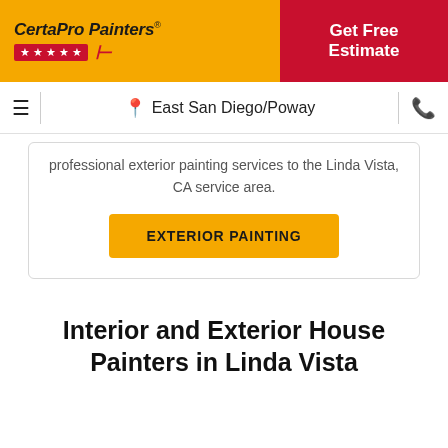CertaPro Painters® | Get Free Estimate
East San Diego/Poway
professional exterior painting services to the Linda Vista, CA service area.
EXTERIOR PAINTING
Interior and Exterior House Painters in Linda Vista